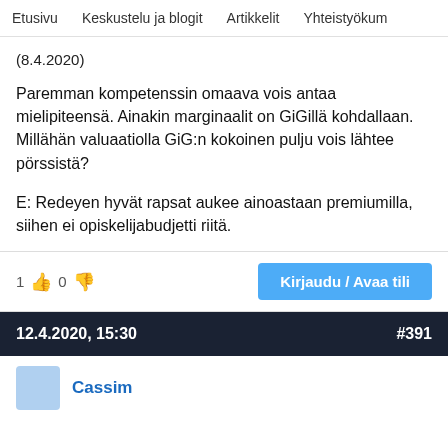Etusivu   Keskustelu ja blogit   Artikkelit   Yhteistyökum
(8.4.2020)
Paremman kompetenssin omaava vois antaa mielipiteensä. Ainakin marginaalit on GiGillä kohdallaan. Millähän valuaatiolla GiG:n kokoinen pulju vois lähtee pörssistä?
E: Redeyen hyvät rapsat aukee ainoastaan premiumilla, siihen ei opiskelijabudjetti riitä.
1 👍 0 👎
Kirjaudu / Avaa tili
12.4.2020, 15:30   #391
Cassim